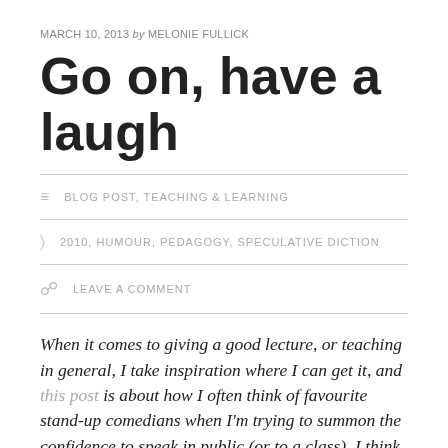MARCH 10, 2013 by MELONIE FULLICK
Go on, have a laugh
BLOG POST, TEACHING & LEARNING
2010, HUMOUR, PEDAGOGY, SPECULATIVE DICTION
LEAVE A COMMENT
When it comes to giving a good lecture, or teaching in general, I take inspiration where I can get it, and this post is about how I often think of favourite stand-up comedians when I'm trying to summon the confidence to speak in public (or to a class). I think humour can play a helpful role in teaching and learning. Here is the